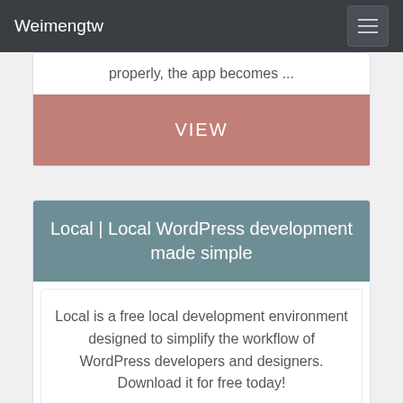Weimengtw
properly, the app becomes ...
VIEW
Local | Local WordPress development made simple
Local is a free local development environment designed to simplify the workflow of WordPress developers and designers. Download it for free today!
VIEW